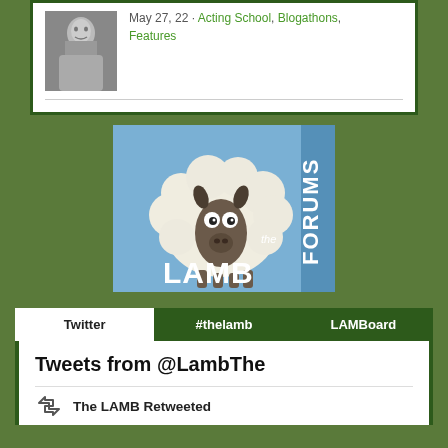May 27, 22 · Acting School, Blogathons, Features
[Figure (photo): Black and white photo of a man]
[Figure (logo): The LAMB Forums logo — cartoon sheep on blue background with text 'the LAMB FORUMS']
Twitter
#thelamb
LAMBoard
Tweets from @LambThe
The LAMB Retweeted